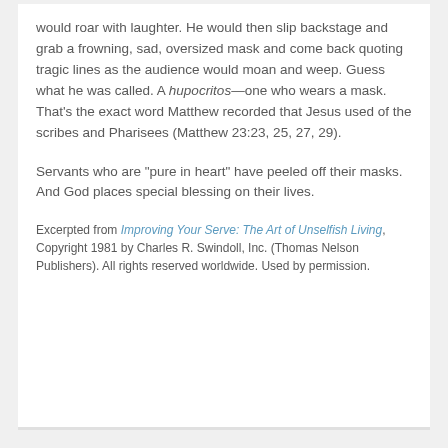would roar with laughter. He would then slip backstage and grab a frowning, sad, oversized mask and come back quoting tragic lines as the audience would moan and weep. Guess what he was called. A hupocritos—one who wears a mask. That's the exact word Matthew recorded that Jesus used of the scribes and Pharisees (Matthew 23:23, 25, 27, 29).
Servants who are "pure in heart" have peeled off their masks. And God places special blessing on their lives.
Excerpted from Improving Your Serve: The Art of Unselfish Living, Copyright 1981 by Charles R. Swindoll, Inc. (Thomas Nelson Publishers). All rights reserved worldwide. Used by permission.